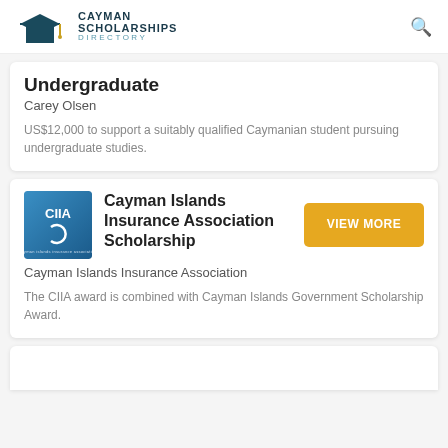CAYMAN SCHOLARSHIPS DIRECTORY
Undergraduate
Carey Olsen
US$12,000 to support a suitably qualified Caymanian student pursuing undergraduate studies.
[Figure (logo): CIIA (Cayman Islands Insurance Association) logo - blue gradient square with white text]
Cayman Islands Insurance Association Scholarship
Cayman Islands Insurance Association
The CIIA award is combined with Cayman Islands Government Scholarship Award.